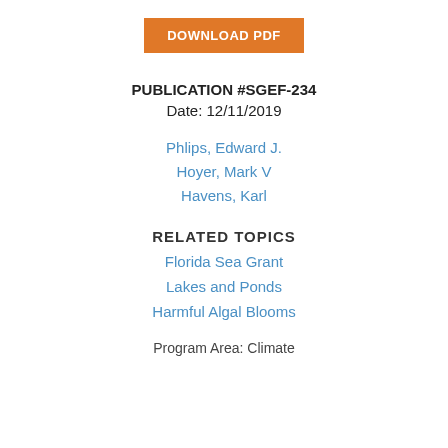[Figure (other): Orange download PDF button]
PUBLICATION #SGEF-234
Date: 12/11/2019
Phlips, Edward J.
Hoyer, Mark V
Havens, Karl
RELATED TOPICS
Florida Sea Grant
Lakes and Ponds
Harmful Algal Blooms
Program Area: Climate